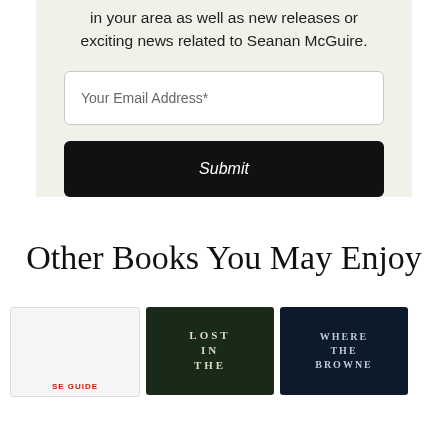in your area as well as new releases or exciting news related to Seanan McGuire.
Your Email Address*
Submit
Other Books You May Enjoy
[Figure (photo): Book cover 1 - light colored cover with red text at bottom]
[Figure (photo): Book cover 2 - dark green cover with white text reading LOST IN THE]
[Figure (photo): Book cover 3 - dark blue cover with white text reading WHERE THE BROWNE]